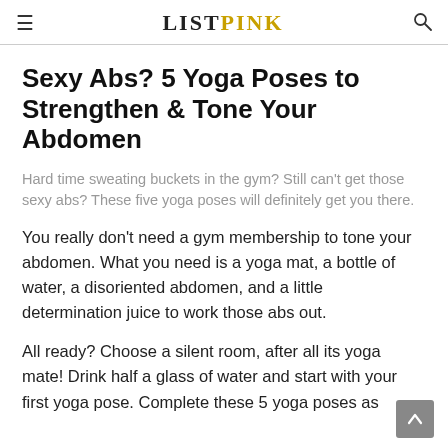LISTPINK
Sexy Abs? 5 Yoga Poses to Strengthen & Tone Your Abdomen
Hard time sweating buckets in the gym? Still can't get those sexy abs? These five yoga poses will definitely get you there.
You really don't need a gym membership to tone your abdomen. What you need is a yoga mat, a bottle of water, a disoriented abdomen, and a little determination juice to work those abs out.
All ready? Choose a silent room, after all its yoga mate! Drink half a glass of water and start with your first yoga pose. Complete these 5 yoga poses as